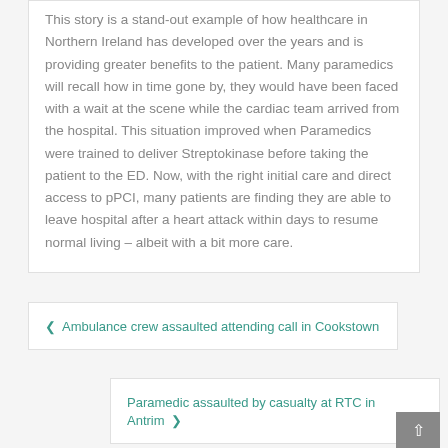This story is a stand-out example of how healthcare in Northern Ireland has developed over the years and is providing greater benefits to the patient. Many paramedics will recall how in time gone by, they would have been faced with a wait at the scene while the cardiac team arrived from the hospital. This situation improved when Paramedics were trained to deliver Streptokinase before taking the patient to the ED. Now, with the right initial care and direct access to pPCI, many patients are finding they are able to leave hospital after a heart attack within days to resume normal living – albeit with a bit more care.
‹ Ambulance crew assaulted attending call in Cookstown
Paramedic assaulted by casualty at RTC in Antrim ›